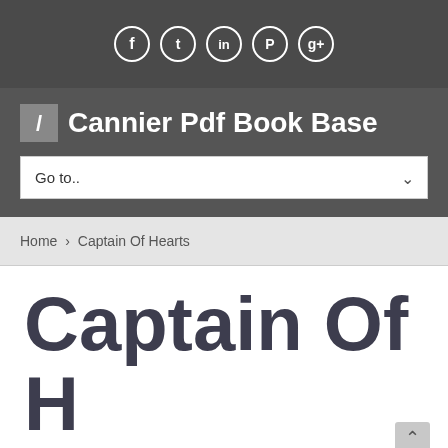[Figure (other): Social media icons row: Facebook, Twitter, LinkedIn, Pinterest, Google+ in white circles on dark grey background]
Cannier Pdf Book Base
Go to..
Home > Captain Of Hearts
Captain Of Hearts